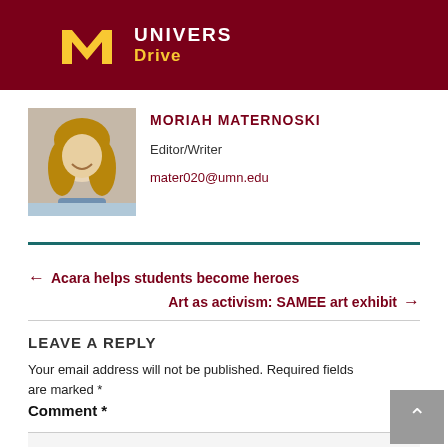UNIVERS Drive
MORIAH MATERNOSKI
Editor/Writer
mater020@umn.edu
← Acara helps students become heroes
Art as activism: SAMEE art exhibit →
LEAVE A REPLY
Your email address will not be published. Required fields are marked *
Comment *